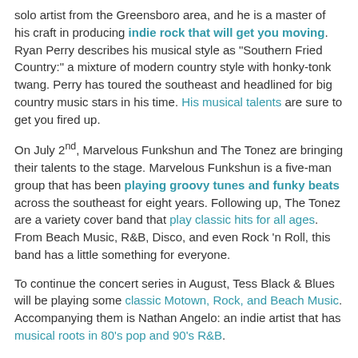solo artist from the Greensboro area, and he is a master of his craft in producing indie rock that will get you moving. Ryan Perry describes his musical style as "Southern Fried Country:" a mixture of modern country style with honky-tonk twang. Perry has toured the southeast and headlined for big country music stars in his time. His musical talents are sure to get you fired up.
On July 2nd, Marvelous Funkshun and The Tonez are bringing their talents to the stage. Marvelous Funkshun is a five-man group that has been playing groovy tunes and funky beats across the southeast for eight years. Following up, The Tonez are a variety cover band that play classic hits for all ages. From Beach Music, R&B, Disco, and even Rock 'n Roll, this band has a little something for everyone.
To continue the concert series in August, Tess Black & Blues will be playing some classic Motown, Rock, and Beach Music. Accompanying them is Nathan Angelo: an indie artist that has musical roots in 80's pop and 90's R&B.
In September, witness "The Ultimate 90's Experience," as Gump Fiction performs live. Their musical talents will take you back to the golden age of grunge, rock, and even pop hits. It is a blast from the past that you won't want to miss.